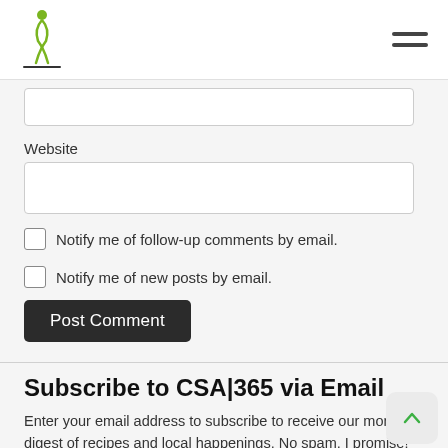CSA|365 logo and navigation menu
[Website input field - top, partially visible]
Website
[Website URL input field]
Notify me of follow-up comments by email.
Notify me of new posts by email.
Post Comment
Subscribe to CSA|365 via Email
Enter your email address to subscribe to receive our monthly digest of recipes and local happenings. No spam, I promise!
[Email address input field]